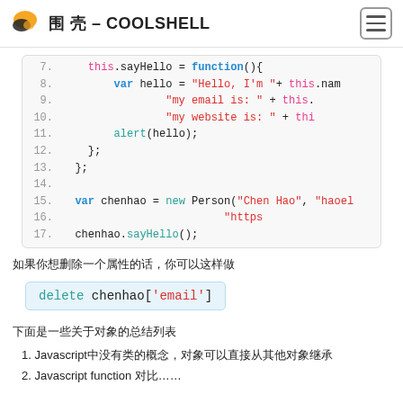酷 壳 – COOLSHELL
[Figure (screenshot): Code snippet showing JavaScript lines 7-17 with syntax highlighting: this.sayHello function definition, var hello string concatenation, alert(hello), closing braces, var chenhao = new Person declaration, chenhao.sayHello() call.]
如果你想删除一个属性的话，你可以这样做
delete chenhao['email']
下面是一些关于对象的总结列表
1. Javascript中没有类的概念，对象可以直接从其他对象继承
2. Javascript function 对比……